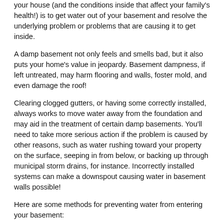your house (and the conditions inside that affect your family's health!) is to get water out of your basement and resolve the underlying problem or problems that are causing it to get inside.
A damp basement not only feels and smells bad, but it also puts your home's value in jeopardy. Basement dampness, if left untreated, may harm flooring and walls, foster mold, and even damage the roof!
Clearing clogged gutters, or having some correctly installed, always works to move water away from the foundation and may aid in the treatment of certain damp basements. You'll need to take more serious action if the problem is caused by other reasons, such as water rushing toward your property on the surface, seeping in from below, or backing up through municipal storm drains, for instance. Incorrectly installed systems can make a downspout causing water in basement walls possible!
Here are some methods for preventing water from entering your basement:
1. Add a Basic Gutter with Planned Extensions
Use plastic or metal gutter extensions to move water further out if your downspouts are dumping water fewer than 5 feet from your house.